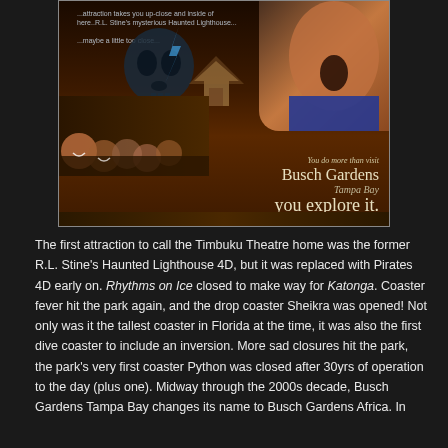[Figure (photo): Advertisement for Busch Gardens Tampa Bay featuring a haunted lighthouse attraction premiering Spring 2003, a frightened boy, crowd of visitors, and the tagline 'You do more than visit Busch Gardens Tampa Bay, you explore it.']
The first attraction to call the Timbuku Theatre home was the former R.L. Stine's Haunted Lighthouse 4D, but it was replaced with Pirates 4D early on. Rhythms on Ice closed to make way for Katonga. Coaster fever hit the park again, and the drop coaster Sheikra was opened! Not only was it the tallest coaster in Florida at the time, it was also the first dive coaster to include an inversion. More sad closures hit the park, the park's very first coaster Python was closed after 30yrs of operation to the day (plus one). Midway through the 2000s decade, Busch Gardens Tampa Bay changes its name to Busch Gardens Africa. In